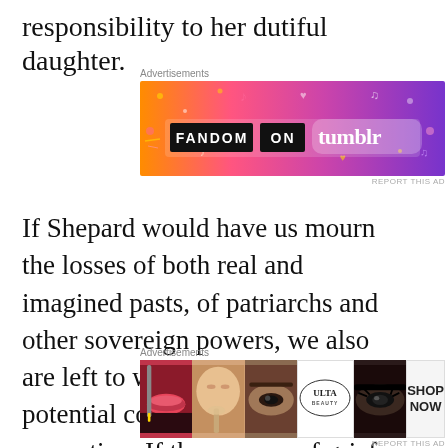responsibility to her dutiful daughter.
[Figure (other): Fandom on Tumblr advertisement banner with colorful gradient background in orange, pink, and purple with doodles and text 'FANDOM ON tumblr']
If Shepard would have us mourn the losses of both real and imagined pasts, of patriarchs and other sovereign powers, we also are left to wonder where there is potential consolation or hope for reparation. If the process of grief and mourning requires that we confront how we are
[Figure (other): ULTA beauty advertisement banner showing close-up images of eyes and lips with 'SHOP NOW' text]